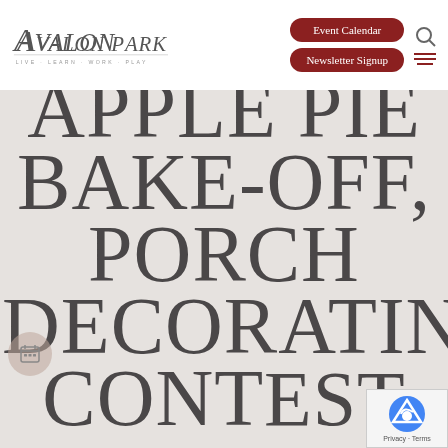Avalon Park — Live · Learn · Work · Play
[Figure (screenshot): Avalon Park logo with tagline LIVE · LEARN · WORK · PLAY]
[Figure (screenshot): Event Calendar and Newsletter Signup navigation buttons]
[Figure (screenshot): Search icon and hamburger menu icon]
APPLE PIE BAKE-OFF, PORCH DECORATING CONTEST
[Figure (other): reCAPTCHA privacy badge in bottom right corner]